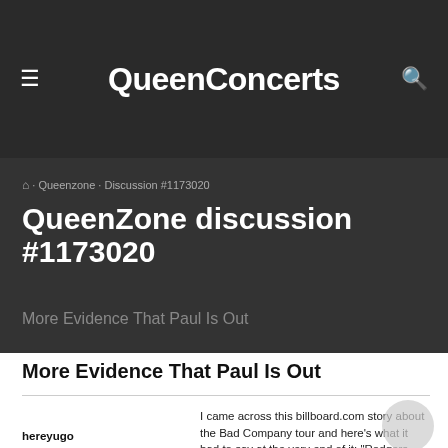QueenConcerts
🏠 · Queenzone · Discussion #1173020
QueenZone discussion #1173020
More Evidence That Paul Is Out
More Evidence That Paul Is Out
I came across this billboard.com story about the Bad Company tour and here's what it had to say at the very end of it: "Rodgers says additional Bad Company shows are unlikely, as he plans to
hereyugo